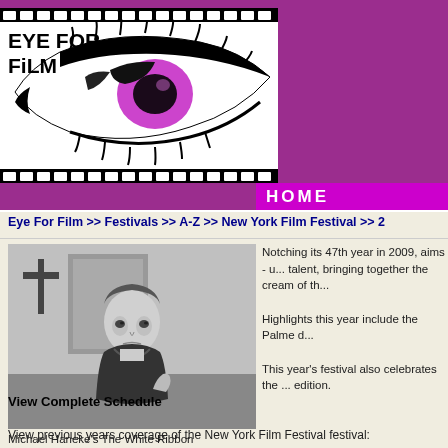[Figure (logo): Eye For Film logo with film strip border and illustrated eye with purple iris]
HOME
Eye For Film >> Festivals >> A-Z >> New York Film Festival >> 2...
[Figure (photo): Black and white photo of a young boy in dark clothing, from Michael Haneke's The White Ribbon]
Notching its 47th year in 2009, aims - u... talent, bringing together the cream of th...
Highlights this year include the Palme d...
This year's festival also celebrates the ... edition.
Michael Haneke's The White Ribbon
View Complete Schedule
View previous years coverage of the New York Film Festival festival: